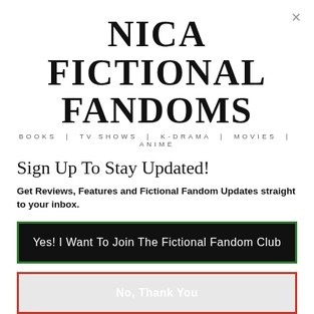[Figure (logo): Nica Fictional Fandoms logo with large bold serif text and subtitle: BOOKS | TV SHOWS | K-DRAMA | MOVIES | ANIME]
Sign Up To Stay Updated!
Get Reviews, Features and Fictional Fandom Updates straight to your inbox.
Yes!  I Want To Join The Fictional Fandom Club
No, Thank You
CON ⚡ by Convertful ING